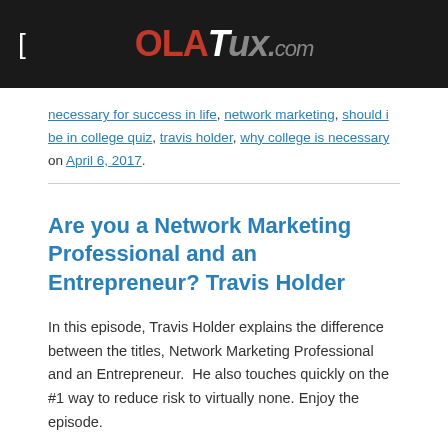OLATux.com
necessary for success in life, network marketing, should i be in college quiz, travis holder, why college is necessary on April 6, 2017.
Are you a Network Marketing Professional and an Entrepreneur? Travis Holder
In this episode, Travis Holder explains the difference between the titles, Network Marketing Professional and an Entrepreneur.  He also touches quickly on the #1 way to reduce risk to virtually none. Enjoy the episode.